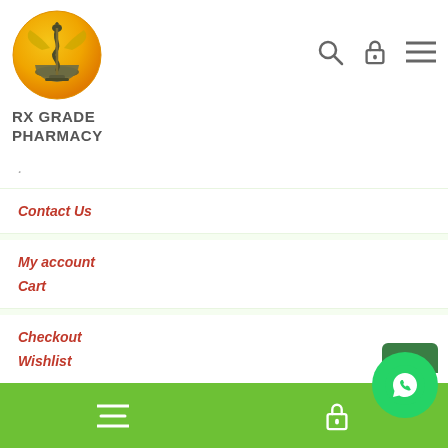[Figure (logo): RX Grade Pharmacy logo: circular golden/orange background with mortar and pestle snake symbol]
RX GRADE PHARMACY
Contact Us
My account
Cart
Checkout
Wishlist
[Figure (screenshot): Bottom green navigation bar with hamburger menu icon and lock icon; WhatsApp floating button on the right]